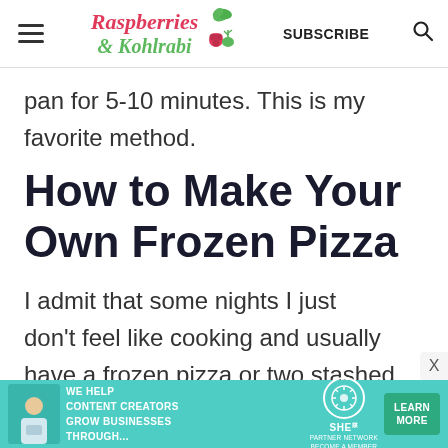Raspberries & Kohlrabi — SUBSCRIBE
pan for 5-10 minutes. This is my favorite method.
How to Make Your Own Frozen Pizza
I admit that some nights I just don't feel like cooking and usually have a frozen pizza or two stashed
[Figure (advertisement): SHE Partner Network ad banner: WE HELP CONTENT CREATORS GROW BUSINESSES THROUGH... LEARN MORE]